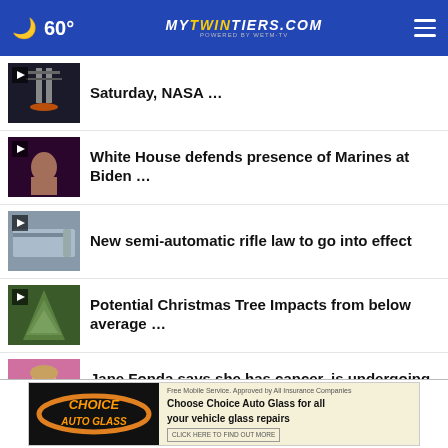60° mytwintiers.com
Saturday, NASA …
White House defends presence of Marines at Biden …
New semi-automatic rifle law to go into effect
Potential Christmas Tree Impacts from below average …
Jane Fonda says she has cancer, is undergoing chemo
PA to distribute nearly $500M … local
[Figure (screenshot): Choice Auto Glass advertisement banner: 'Choose Choice Auto Glass for all your vehicle glass repairs']